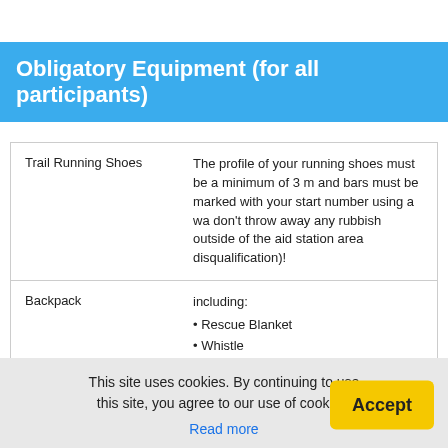Obligatory Equipment (for all participants)
| Item | Description |
| --- | --- |
| Trail Running Shoes | The profile of your running shoes must be a minimum of 3 m and bars must be marked with your start number using a wa don't throw away any rubbish outside of the aid station area disqualification)! |
| Backpack | including:
• Rescue Blanket
• Whistle
• Gloves
• Beanie
• Rainjacket
• Mobile Phone* |
This site uses cookies. By continuing to use this site, you agree to our use of cookies.
Read more
Accept